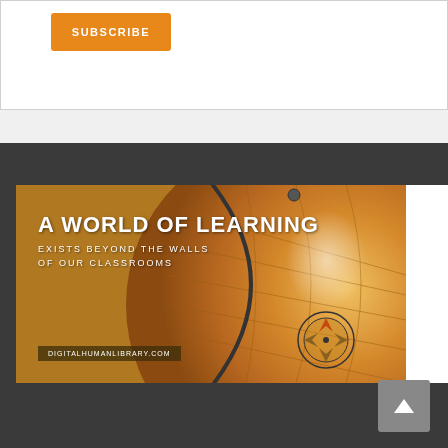[Figure (other): Orange SUBSCRIBE button on white background card]
[Figure (photo): Banner image showing a vintage globe with text 'A WORLD OF LEARNING EXISTS BEYOND THE WALLS OF OUR CLASSROOMS' and URL 'DIGITALHUMANLIBRARY.COM' overlaid on an amber-toned globe photograph]